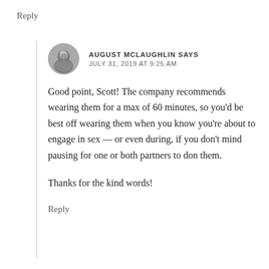Reply
[Figure (photo): Circular avatar photo of August McLaughlin, black and white portrait]
AUGUST MCLAUGHLIN SAYS
JULY 31, 2019 AT 9:25 AM
Good point, Scott! The company recommends wearing them for a max of 60 minutes, so you'd be best off wearing them when you know you're about to engage in sex — or even during, if you don't mind pausing for one or both partners to don them.
Thanks for the kind words!
Reply